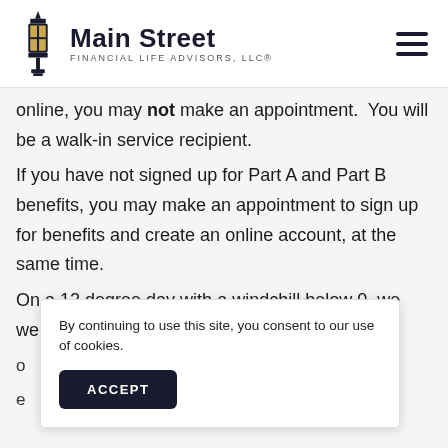Main Street Financial Life Advisors, LLC®
online, you may not make an appointment. You will be a walk-in service recipient.
If you have not signed up for Part A and Part B benefits, you may make an appointment to sign up for benefits and create an online account, at the same time.
On a 12 degree day with a windchill below 0, we were th...
By continuing to use this site, you consent to our use of cookies.
ACCEPT